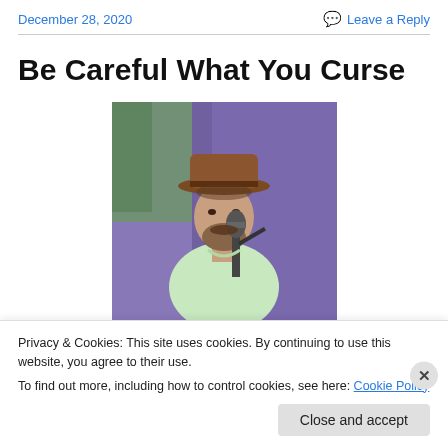December 28, 2020   Leave a Reply
Be Careful What You Curse
[Figure (photo): A bearded man wearing a brown wide-brim hat, singing into a microphone, wearing a light green shirt, with a purple and green background.]
Privacy & Cookies: This site uses cookies. By continuing to use this website, you agree to their use.
To find out more, including how to control cookies, see here: Cookie Policy